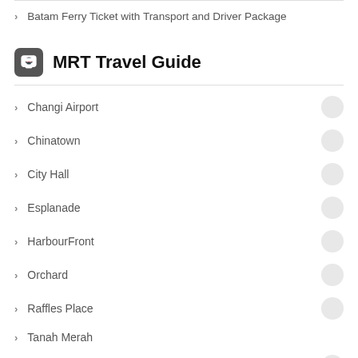Batam Ferry Ticket with Transport and Driver Package
MRT Travel Guide
Changi Airport
Chinatown
City Hall
Esplanade
HarbourFront
Orchard
Raffles Place
Tanah Merah
Woodlands